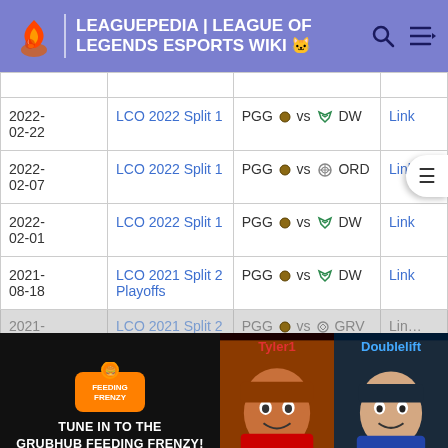LEAGUEPEDIA | LEAGUE OF LEGENDS ESPORTS WIKI
| Date | League | Match |  |
| --- | --- | --- | --- |
| 2022-02-22 | LCO 2022 Split 1 | PGG vs DW | Link |
| 2022-02-07 | LCO 2022 Split 1 | PGG vs ORD | Link |
| 2022-02-01 | LCO 2022 Split 1 | PGG vs DW | Link |
| 2021-08-18 | LCO 2021 Split 2 Playoffs | PGG vs DW | Link |
| 2021-08-11 | LCO 2021 Split 2 | PGG vs GRV | Link |
| 2021-07-20 | LCO 2021 Split 2 | PGG vs ... | Link |
| 2021-07- | LCO 2021 Split 2 | ORD vs PGG | Link |
[Figure (screenshot): Grubhub Feeding Frenzy advertisement overlay featuring Tyler1 and Doublelift, with text 'TUNE IN TO THE GRUBHUB FEEDING FRENZY! SEPTEMBER 11 @ 11AM EST']